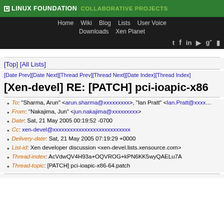LINUX FOUNDATION COLLABORATIVE PROJECTS
Home Wiki Blog Lists User Voice Downloads Xen Planet
[Top] [All Lists]
[Date Prev][Date Next][Thread Prev][Thread Next][Date Index][Thread Index]
[Xen-devel] RE: [PATCH] pci-ioapic-x86
To: "Sharma, Arun" <arun.sharma@xxxxxxxxx>, "Ian Pratt" <Ian.Pratt@xxxx
From: "Nakajima, Jun" <jun.nakajima@xxxxxxxxx>
Date: Sat, 21 May 2005 00:19:52 -0700
Cc: xen-devel@xxxxxxxxxxxxxxxxxxxxxxxxxxx
Delivery-date: Sat, 21 May 2005 07:19:29 +0000
List-id: Xen developer discussion <xen-devel.lists.xensource.com>
Thread-index: AcVdwQV4H93a+OQVROG+kPN6KK5wyQAELu7A
Thread-topic: [PATCH] pci-ioapic-x86-64.patch